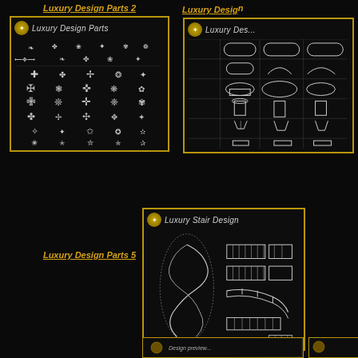Luxury Design Parts 2
[Figure (illustration): Black background image showing luxury decorative ornament parts arranged in a grid — white/silver flourishes, crosses, fleur-de-lis, and symmetrical decorative motifs. Header shows a badge icon and text 'Luxury Design Parts'.]
Luxury Design (partially visible, right column)
[Figure (illustration): Partially visible right column image showing architectural column capitals and pedestals in a table/grid layout on black background. Header shows badge and 'Luxury Des...' text.]
Luxury Design Parts 5
Luxury Design (partially visible, right column)
[Figure (illustration): Black background image showing luxury stair design CAD drawings — includes spiral staircase elevation, stair railings, balustrades, and various stair section details. Header shows badge icon and 'Luxury Stair Design' text.]
Luxury Stair Design
Ornamental P... Building...